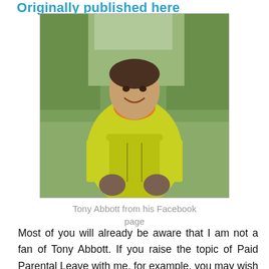Originally published here
[Figure (photo): Photo of Tony Abbott in yellow/lime green high-visibility jacket with orange collar, smiling, outdoors with trees in background]
Tony Abbott from his Facebook page
Most of you will already be aware that I am not a fan of Tony Abbott. If you raise the topic of Paid Parental Leave with me, for example, you may wish to brace yourself for a diatribe about the “calibre” of the women our Prime Minister privileges above other hard-working women who stay at home without any pay at all for years rather than months. I will probably also make liberal use of the words